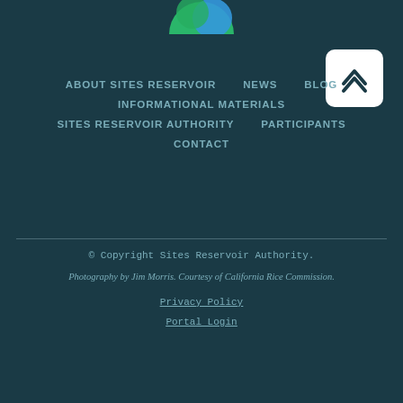[Figure (logo): Sites Reservoir Authority logo — green and blue circular icon, partially visible at top center]
[Figure (other): Back to top button — white rounded square with chevron/caret up arrow]
ABOUT SITES RESERVOIR
NEWS
BLOG
INFORMATIONAL MATERIALS
SITES RESERVOIR AUTHORITY
PARTICIPANTS
CONTACT
© Copyright Sites Reservoir Authority.
Photography by Jim Morris. Courtesy of California Rice Commission.
Privacy Policy
Portal Login